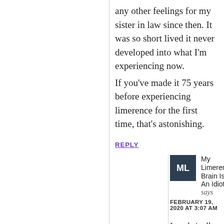any other feelings for my sister in law since then. It was so short lived it never developed into what I'm experiencing now.
If you've made it 75 years before experiencing limerence for the first time, that's astonishing.
REPLY
My Limerent Brain Is An Idiot says
FEBRUARY 19, 2020 AT 3:07 AM
I made it all the way to my early fifties without developing any limerence.
And I'm determined that this LE